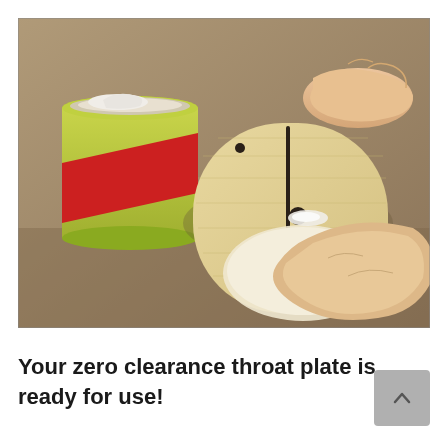[Figure (photo): A person's hands applying filler/paste from a yellow and red can (labeled 'Jan Paste') to a wooden zero clearance throat plate blank on a brown workbench surface. The oval-shaped wooden plate has holes and a narrow slot cut through it.]
Your zero clearance throat plate is ready for use!